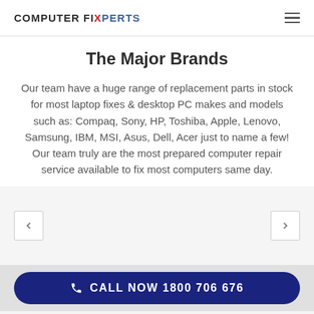COMPUTER FIXPERTS
The Major Brands
Our team have a huge range of replacement parts in stock for most laptop fixes & desktop PC makes and models such as: Compaq, Sony, HP, Toshiba, Apple, Lenovo, Samsung, IBM, MSI, Asus, Dell, Acer just to name a few! Our team truly are the most prepared computer repair service available to fix most computers same day.
CALL NOW 1800 706 676